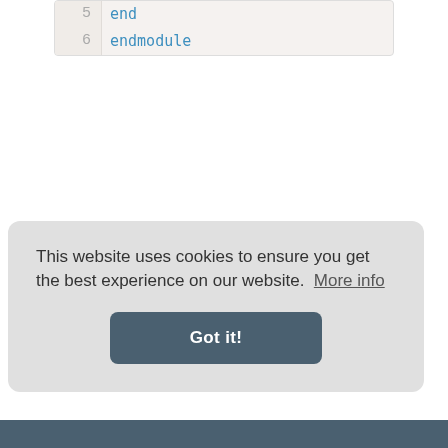[Figure (screenshot): Code block showing lines 5 and 6 of Verilog/HDL code. Line 5: 'end', Line 6: 'endmodule', displayed with syntax highlighting (blue keywords) on a light beige background with line numbers.]
This website uses cookies to ensure you get the best experience on our website. More info
Got it!